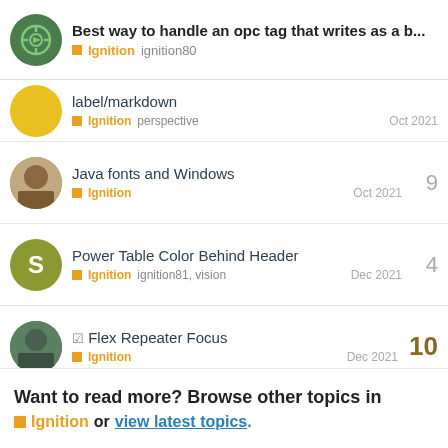Best way to handle an opc tag that writes as a b...
Ignition  ignition80
label/markdown
Ignition  perspective  Oct 2021
Java fonts and Windows
Ignition  Oct 2021  9
Power Table Color Behind Header
Ignition  ignition81, vision  Dec 2021  4
✓ Flex Repeater Focus
Ignition  Dec 2021  10
✓ Need creative way to navigate windows from gateway script
Ignition  ignition79, scripting, vision  Aug 2021  2
Want to read more? Browse other topics in
Ignition or view latest topics.